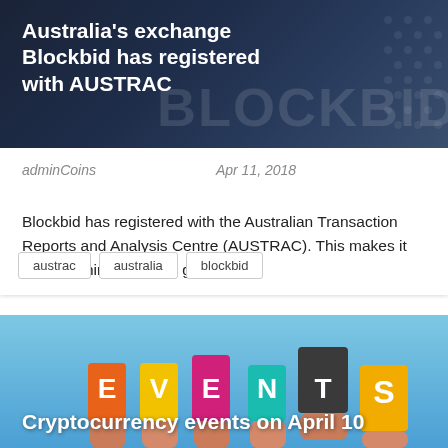[Figure (photo): Dark blue Blockbid branded banner with BLOCKBID watermark text and hexagonal dot pattern]
Australia's exchange Blockbid has registered with AUSTRAC
adminCoins    Apr 11, 2018
Blockbid has registered with the Australian Transaction Reports and Analysis Centre (AUSTRAC). This makes it only the third company granted ...
austrac
australia
blockbid
[Figure (photo): Colorful EVENTS letters being held up by hands against a blue sky background]
Cryptocurrency events on April 10